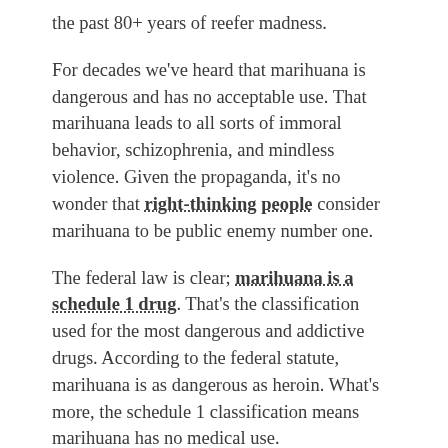the past 80+ years of reefer madness.
For decades we've heard that marihuana is dangerous and has no acceptable use. That marihuana leads to all sorts of immoral behavior, schizophrenia, and mindless violence. Given the propaganda, it's no wonder that right-thinking people consider marihuana to be public enemy number one.
The federal law is clear; marihuana is a schedule 1 drug. That's the classification used for the most dangerous and addictive drugs. According to the federal statute, marihuana is as dangerous as heroin. What's more, the schedule 1 classification means marihuana has no medical use.